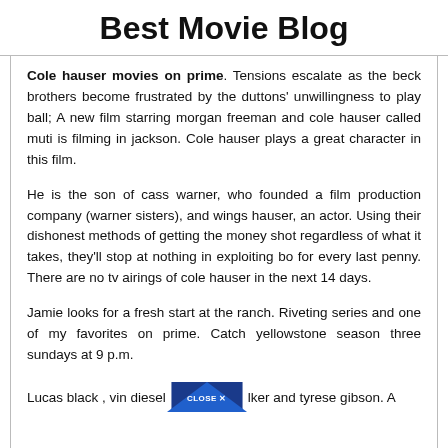Best Movie Blog
Cole hauser movies on prime. Tensions escalate as the beck brothers become frustrated by the duttons' unwillingness to play ball; A new film starring morgan freeman and cole hauser called muti is filming in jackson. Cole hauser plays a great character in this film.
He is the son of cass warner, who founded a film production company (warner sisters), and wings hauser, an actor. Using their dishonest methods of getting the money shot regardless of what it takes, they'll stop at nothing in exploiting bo for every last penny. There are no tv airings of cole hauser in the next 14 days.
Jamie looks for a fresh start at the ranch. Riveting series and one of my favorites on prime. Catch yellowstone season three sundays at 9 p.m.
Lucas black , vin diesel, [CLOSE X] lker and tyrese gibson. A ...